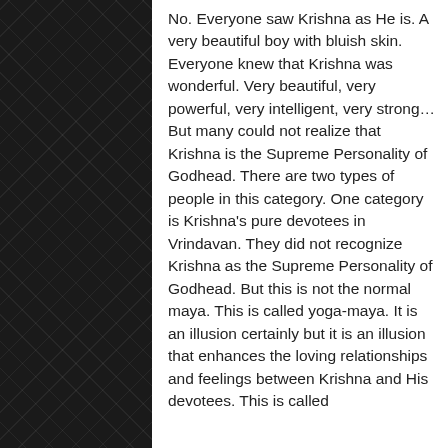No. Everyone saw Krishna as He is. A very beautiful boy with bluish skin. Everyone knew that Krishna was wonderful. Very beautiful, very powerful, very intelligent, very strong… But many could not realize that Krishna is the Supreme Personality of Godhead. There are two types of people in this category. One category is Krishna's pure devotees in Vrindavan. They did not recognize Krishna as the Supreme Personality of Godhead. But this is not the normal maya. This is called yoga-maya. It is an illusion certainly but it is an illusion that enhances the loving relationships and feelings between Krishna and His devotees. This is called